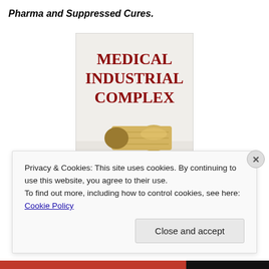Pharma and Suppressed Cures.
[Figure (illustration): Book cover of 'Medical Industrial Complex' by James & Lance Morcan, showing red serif title text at top, and below it a rolled-up US hundred dollar bill used as a pill bottle with colorful pills spilling out.]
Privacy & Cookies: This site uses cookies. By continuing to use this website, you agree to their use.
To find out more, including how to control cookies, see here: Cookie Policy
Close and accept